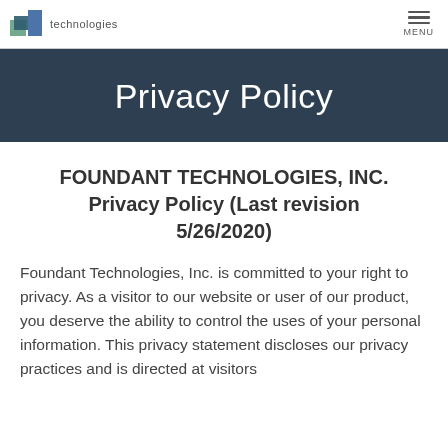Foundant technologies | MENU
Privacy Policy
FOUNDANT TECHNOLOGIES, INC. Privacy Policy (Last revision 5/26/2020)
Foundant Technologies, Inc. is committed to your right to privacy. As a visitor to our website or user of our product, you deserve the ability to control the uses of your personal information. This privacy statement discloses our privacy practices and is directed at visitors